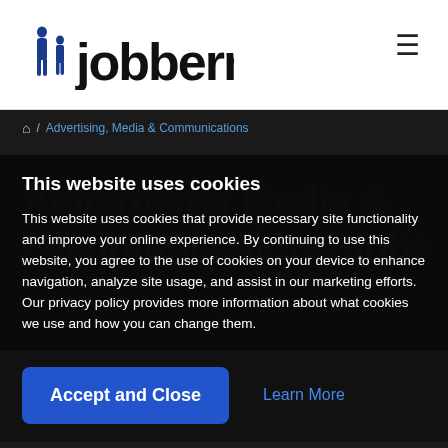Jobberman
/ Advertising, Media & Communications
This website uses cookies
This website uses cookies that provide necessary site functionality and improve your online experience. By continuing to use this website, you agree to the use of cookies on your device to enhance navigation, analyze site usage, and assist in our marketing efforts. Our privacy policy provides more information about what cookies we use and how you can change them.
Accept and Close
Learn More